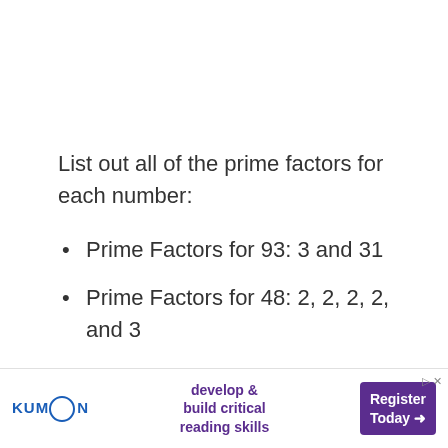List out all of the prime factors for each number:
Prime Factors for 93: 3 and 31
Prime Factors for 48: 2, 2, 2, 2, and 3
Now that we have the list of prime factors, we need to list out all of the prime factors as often as they occur for each given number and then multiply them together. In our e
[Figure (other): Kumon advertisement banner: 'develop & build critical reading skills' with 'Register Today' call to action button]